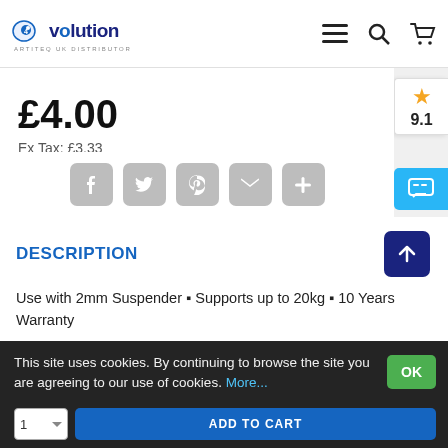eyevolution - ARTITEQ UK DISTRIBUTOR
£4.00
Ex Tax: £3.33
DESCRIPTION
Use with 2mm Suspender ▪ Supports up to 20kg ▪ 10 Years Warranty
This site uses cookies. By continuing to browse the site you are agreeing to our use of cookies. More...